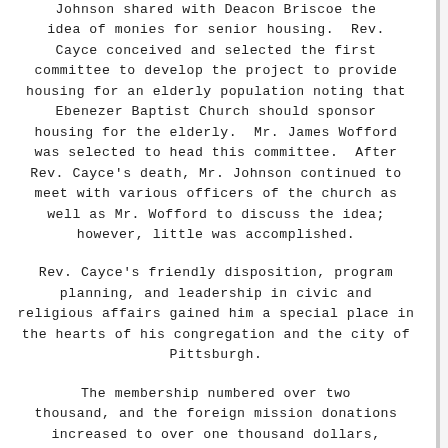Johnson shared with Deacon Briscoe the idea of monies for senior housing. Rev. Cayce conceived and selected the first committee to develop the project to provide housing for an elderly population noting that Ebenezer Baptist Church should sponsor housing for the elderly. Mr. James Wofford was selected to head this committee. After Rev. Cayce's death, Mr. Johnson continued to meet with various officers of the church as well as Mr. Wofford to discuss the idea; however, little was accomplished.
Rev. Cayce's friendly disposition, program planning, and leadership in civic and religious affairs gained him a special place in the hearts of his congregation and the city of Pittsburgh.
The membership numbered over two thousand, and the foreign mission donations increased to over one thousand dollars, which placed Ebenezer in the A-plus Class as designated by the National Baptist